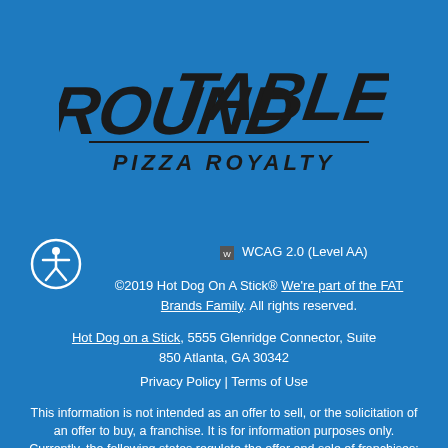[Figure (logo): Round Table Pizza Royalty logo — stylized bold italic black lettering on blue background]
[Figure (illustration): Accessibility icon — person in circle outline (wheelchair accessibility symbol)]
WCAG 2.0 (Level AA)
©2019 Hot Dog On A Stick® We're part of the FAT Brands Family. All rights reserved.
Hot Dog on a Stick, 5555 Glenridge Connector, Suite 850 Atlanta, GA 30342
Privacy Policy | Terms of Use
This information is not intended as an offer to sell, or the solicitation of an offer to buy, a franchise. It is for information purposes only. Currently, the following states regulate the offer and sale of franchises: California, Hawaii, Illinois, Indiana, Maryland, Michigan, Minnesota, New York, North